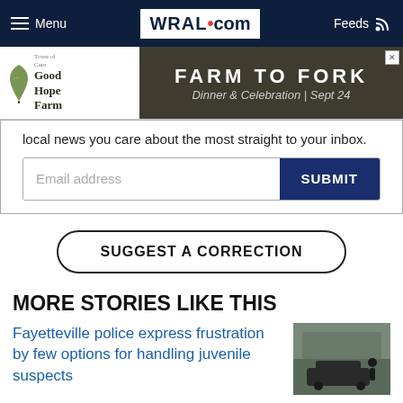WRAL.com — Menu | Feeds
[Figure (advertisement): Good Hope Farm — FARM TO FORK Dinner & Celebration | Sept 24 advertisement banner]
local news you care about the most straight to your inbox.
Email address [SUBMIT button]
SUGGEST A CORRECTION
MORE STORIES LIKE THIS
Fayetteville police express frustration by few options for handling juvenile suspects